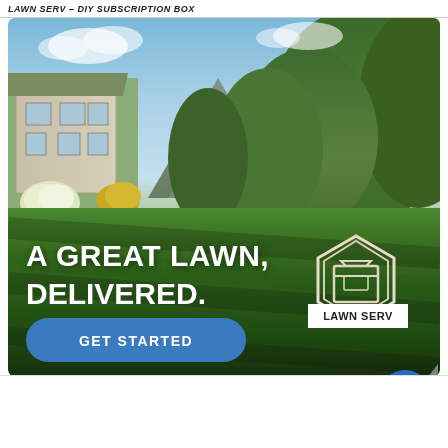LAWN SERV – DIY SUBSCRIPTION BOX
[Figure (photo): Outdoor photo of a beautiful well-maintained green lawn with a house on the left, flowering shrubs (white hydrangeas, purple lavender, yellow flowers), lush green trees and a mountain in the background, under a partly cloudy blue sky. Overlaid with white bold text 'A GREAT LAWN, DELIVERED.' and a blue rounded button 'GET STARTED', plus a hexagonal LAWN SERV logo in the lower right.]
[Figure (logo): Lawn Serv hexagonal logo with a box/package icon inside and text 'LAWN SERV' at the bottom]